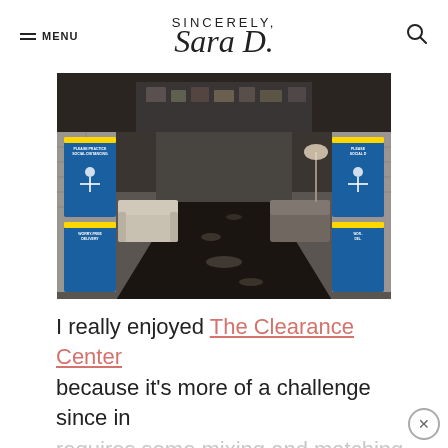SINCERELY, Sara D. — MENU [navigation]
[Figure (photo): Interior of a furniture store showroom with a wide polished dark concrete aisle, sofas and furniture on either side, blue social distancing and worry-free delivery banner stands at the entrance.]
I really enjoyed The Clearance Center because it's more of a challenge since in requires some mixing and matching. The